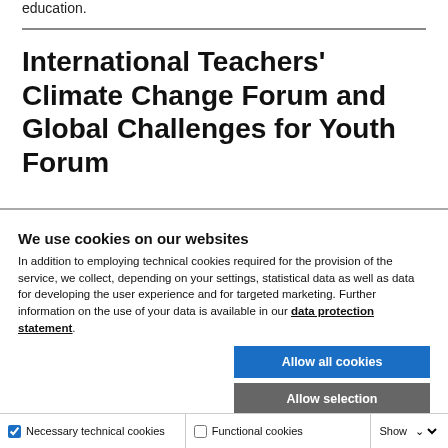education.
International Teachers' Climate Change Forum and Global Challenges for Youth Forum
We use cookies on our websites
In addition to employing technical cookies required for the provision of the service, we collect, depending on your settings, statistical data as well as data for developing the user experience and for targeted marketing. Further information on the use of your data is available in our data protection statement.
Allow all cookies
Allow selection
Use necessary cookies only
Necessary technical cookies   Functional cookies   Show details